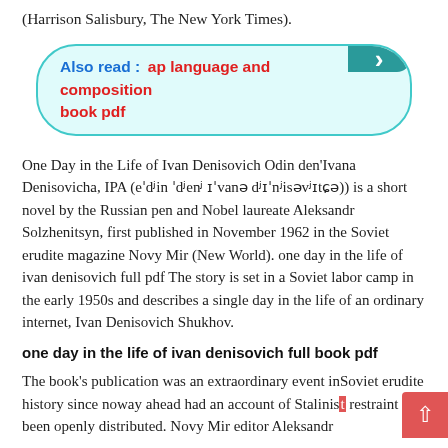(Harrison Salisbury, The New York Times).
Also read :  ap language and composition book pdf
One Day in the Life of Ivan Denisovich Odin den'Ivana Denisovicha, IPA (eˈdʲin ˈdʲenʲ ɪˈvanə dʲɪˈnʲisəvʲɪtɕə)) is a short novel by the Russian pen and Nobel laureate Aleksandr Solzhenitsyn, first published in November 1962 in the Soviet erudite magazine Novy Mir (New World). one day in the life of ivan denisovich full pdf The story is set in a Soviet labor camp in the early 1950s and describes a single day in the life of an ordinary internet, Ivan Denisovich Shukhov.
one day in the life of ivan denisovich full book pdf
The book's publication was an extraordinary event inSoviet erudite history since noway ahead had an account of Stalinist restraint been openly distributed. Novy Mir editor Aleksandr